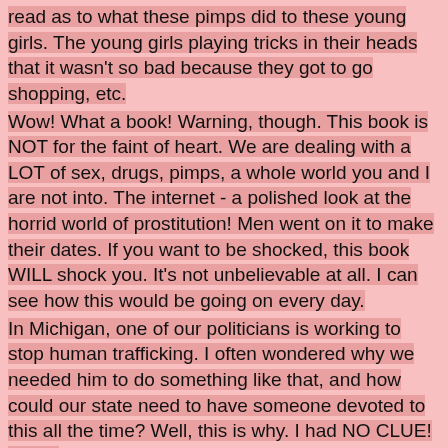read as to what these pimps did to these young girls. The young girls playing tricks in their heads that it wasn't so bad because they got to go shopping, etc.
Wow! What a book! Warning, though. This book is NOT for the faint of heart. We are dealing with a LOT of sex, drugs, pimps, a whole world you and I are not into. The internet - a polished look at the horrid world of prostitution! Men went on it to make their dates. If you want to be shocked, this book WILL shock you. It's not unbelievable at all. I can see how this would be going on every day.
In Michigan, one of our politicians is working to stop human trafficking. I often wondered why we needed him to do something like that, and how could our state need to have someone devoted to this all the time? Well, this is why. I had NO CLUE! None!
Again, the writing in this book was phenomenal! If you want a book that is non-stop  eye-opening action, then this is one for you.
I received this book for FREE from the author/publisher in exchange to read and write a review about it. It is NOT required for this review to be either positive or negative, but of my own honest opinion. "Free" means I was provided with ZERO MONIES to read this book nor to write this review, but